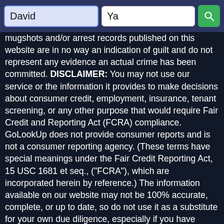David | Ya | [search]
mugshots and/or arrest records published on this website are in no way an indication of guilt and do not represent any evidence an actual crime has been committed. DISCLAIMER: You may not use our service or the information it provides to make decisions about consumer credit, employment, insurance, tenant screening, or any other purpose that would require Fair Credit and Reporting Act (FCRA) compliance. GoLookUp does not provide consumer reports and is not a consumer reporting agency. (These terms have special meanings under the Fair Credit Reporting Act, 15 USC 1681 et seq., ("FCRA"), which are incorporated herein by reference.) The information available on our website may not be 100% accurate, complete, or up to date, so do not use it as a substitute for your own due diligence, especially if you have concerns about a person's criminal history. GoLookUp does not make any representation or warranty about the accuracy of the information available through our website or about the character or integrity of the person about whom you inquire. For more information, please review GoLookup Terms of Use.